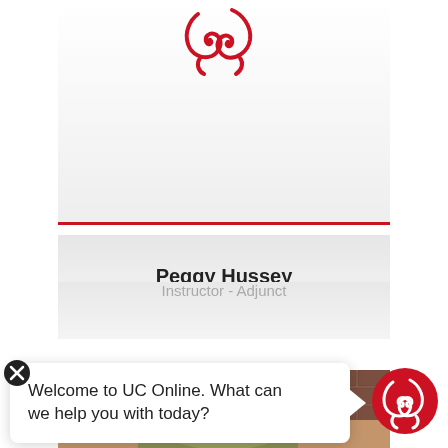[Figure (logo): University of Cincinnati red logo (UC swirl) at top of profile card]
Peggy Hussey
Instructor - Adjunct
[Figure (photo): Partial photo of a woman with red/auburn hair in front of a brick wall background]
Welcome to UC Online. What can we help you with today?
[Figure (logo): UC (University of Cincinnati) logo in red circle for chat widget]